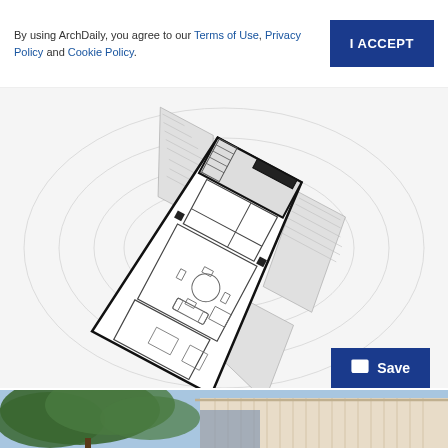By using ArchDaily, you agree to our Terms of Use, Privacy Policy and Cookie Policy.
[Figure (other): I ACCEPT button — dark blue rectangle with white bold text]
[Figure (engineering-diagram): Architectural floor plan drawing rotated approximately 30 degrees, showing a building layout with rooms, furniture, hatched walls and surrounding site context with contour lines]
[Figure (other): Save button — dark blue rectangle with folder icon and white bold text 'Save']
[Figure (photo): Exterior photo of a modern building with light-colored vertical cladding and a tree with green foliage in the foreground against a blue sky]